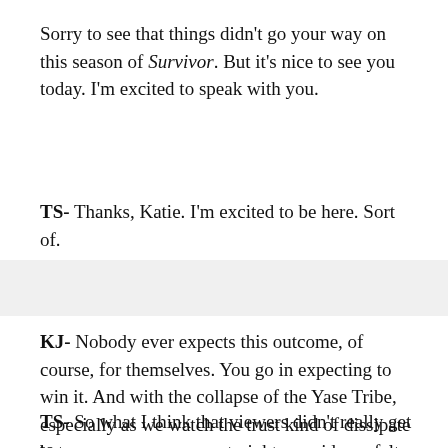Sorry to see that things didn't go your way on this season of Survivor. But it's nice to see you today. I'm excited to speak with you.
TS- Thanks, Katie. I'm excited to be here. Sort of.
KJ- Nobody ever expects this outcome, of course, for themselves. You go in expecting to win it. And with the collapse of the Yase Tribe, especially as we watch the trust kind of dissipate between you guys, you straight up said you felt like it was gonna be you voted out Tribal. So when did you start to feel like you were in jeopardy?
TS- So what I think that viewers didn't really get to